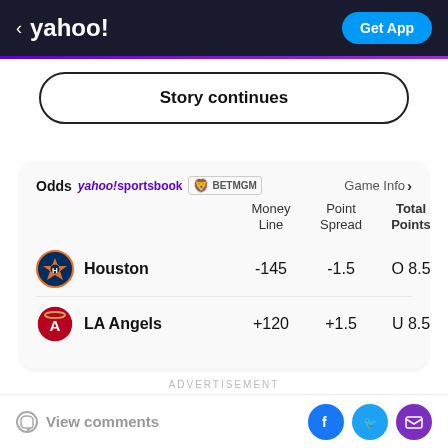< yahoo! | Get App
Story continues
|  | Money Line | Point Spread | Total Points |
| --- | --- | --- | --- |
| Houston | -145 | -1.5 | O 8.5 |
| LA Angels | +120 | +1.5 | U 8.5 |
ADVERTISEMENT
View comments | Facebook | Twitter | Mail